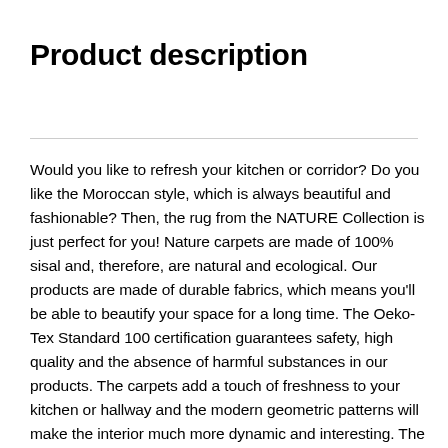Product description
Would you like to refresh your kitchen or corridor? Do you like the Moroccan style, which is always beautiful and fashionable? Then, the rug from the NATURE Collection is just perfect for you! Nature carpets are made of 100% sisal and, therefore, are natural and ecological. Our products are made of durable fabrics, which means you'll be able to beautify your space for a long time. The Oeko-Tex Standard 100 certification guarantees safety, high quality and the absence of harmful substances in our products. The carpets add a touch of freshness to your kitchen or hallway and the modern geometric patterns will make the interior much more dynamic and interesting. The sisal rugs are also very easy to care for, which is why they will not only be stylish in the kitchen, but also practical. The Nature rugs are also suitable for use in many other interiors.